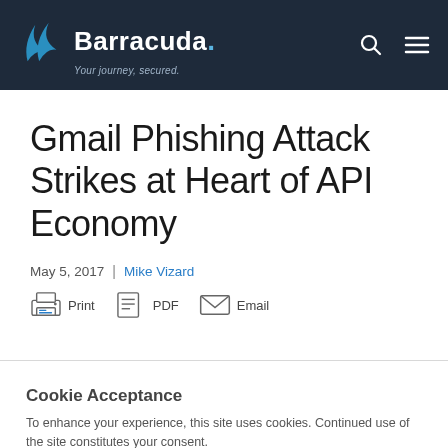Barracuda. Your journey, secured.
Gmail Phishing Attack Strikes at Heart of API Economy
May 5, 2017 | Mike Vizard
Print  PDF  Email
Cookie Acceptance
To enhance your experience, this site uses cookies. Continued use of the site constitutes your consent.